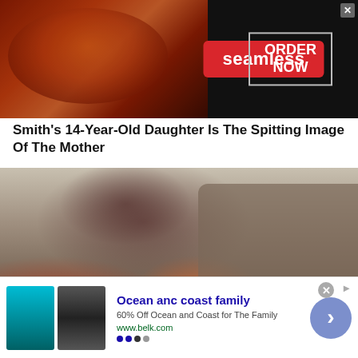[Figure (screenshot): Seamless food delivery advertisement banner with pizza image on left, red 'seamless' button in center, and 'ORDER NOW' box on right with close X button]
Smith's 14-Year-Old Daughter Is The Spitting Image Of The Mother
[Figure (photo): Young woman with red hair in a bun wearing 3D glasses and a leather jacket, lounging on a brown tufted couch with pizza boxes and red-and-white striped socks, on a checkered floor]
[Figure (screenshot): Advertisement for Ocean and Coast family clothing from belk.com showing swimwear images, with blue arrow button and AdChoices icon. Text: 'Ocean anc coast family', '60% Off Ocean and Coast for The Family', 'www.belk.com']